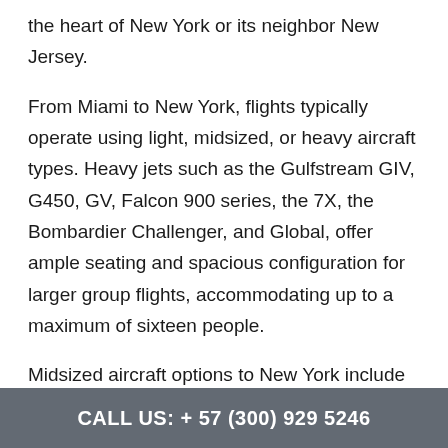the heart of New York or its neighbor New Jersey.
From Miami to New York, flights typically operate using light, midsized, or heavy aircraft types. Heavy jets such as the Gulfstream GIV, G450, GV, Falcon 900 series, the 7X, the Bombardier Challenger, and Global, offer ample seating and spacious configuration for larger group flights, accommodating up to a maximum of sixteen people.
Midsized aircraft options to New York include the Hawker 800XP, Lear 60XR, Falcon 50, and the Citation XLS. Midsized jets can transport up to a
CALL US: + 57 (300) 929 5246